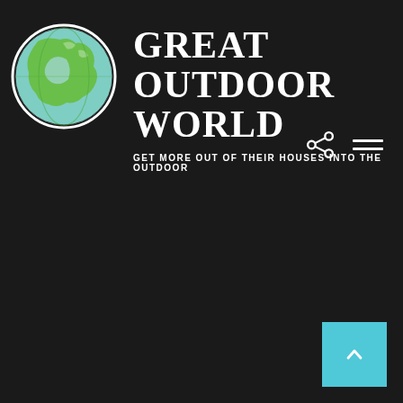[Figure (logo): Globe logo with green landmass and light blue ocean, outlined circle, on dark background]
GREAT OUTDOOR WORLD
GET MORE OUT OF THEIR HOUSES INTO THE OUTDOOR
[Figure (other): Share icon (connected dots) and hamburger menu icon (three horizontal lines) in white on dark background]
[Figure (other): Light blue scroll-to-top button with upward arrow, positioned in lower right corner]